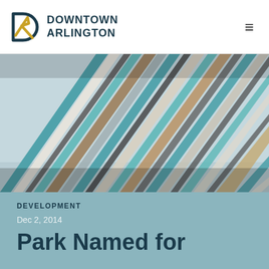DOWNTOWN ARLINGTON
[Figure (photo): Close-up photograph of colorful wooden fence slats or boards fanning outward — teal, white, brown, and gray tones — shot from below looking upward toward sky]
DEVELOPMENT
Dec 2, 2014
Park Named for